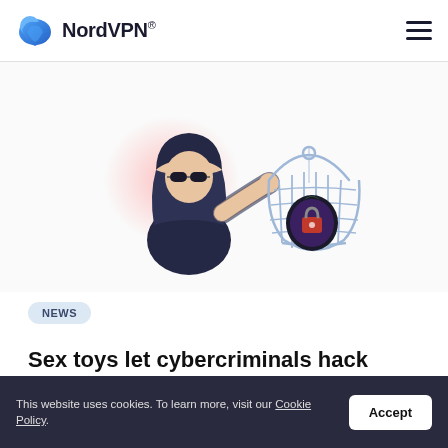NordVPN®
[Figure (illustration): Illustrated hacker in dark hoodie and sunglasses holding a birdcage containing an eggplant emoji with a padlock, with a pink glowing aura behind the hacker]
NEWS
Sex toys let cybercriminals hack more than just your secrets
Feb 02, 2021 · 4 min read
This website uses cookies. To learn more, visit our Cookie Policy.